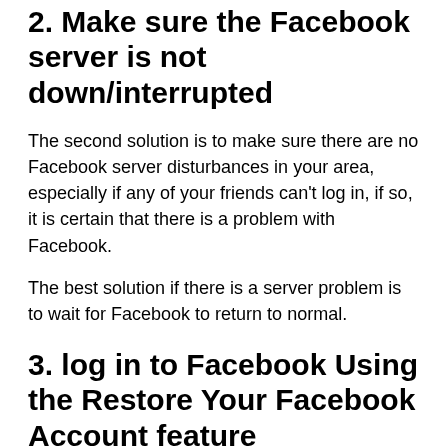2. Make sure the Facebook server is not down/interrupted
The second solution is to make sure there are no Facebook server disturbances in your area, especially if any of your friends can't log in, if so, it is certain that there is a problem with Facebook.
The best solution if there is a server problem is to wait for Facebook to return to normal.
3. log in to Facebook Using the Restore Your Facebook Account feature
If you can still log in/log in to your Facebook